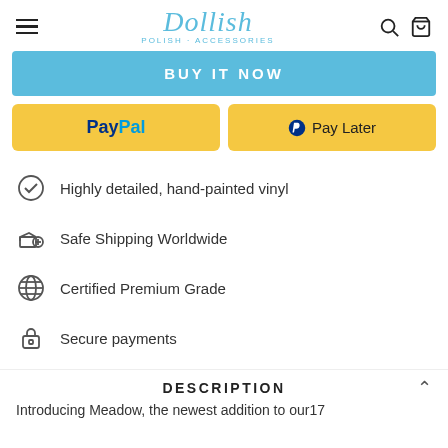Dollish - navigation header with hamburger menu, logo, search and cart icons
[Figure (screenshot): Blue BUY IT NOW button]
[Figure (screenshot): PayPal and Pay Later payment buttons in yellow]
Highly detailed, hand-painted vinyl
Safe Shipping Worldwide
Certified Premium Grade
Secure payments
DESCRIPTION
Introducing Meadow, the newest addition to our17